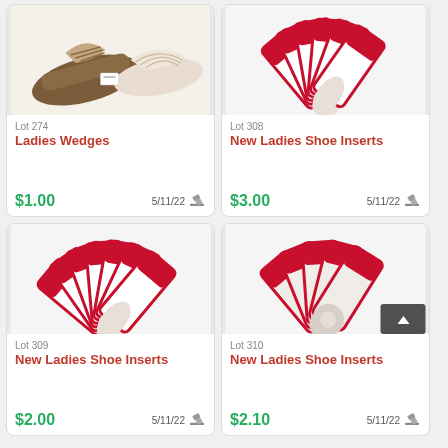[Figure (photo): Two pairs of ladies wedge sandals on white fabric background]
Lot 274
Ladies Wedges
$1.00
5/11/22
[Figure (photo): Multiple packages of ladies shoe inserts fanned out, red and white packaging]
Lot 308
New Ladies Shoe Inserts
$3.00
5/11/22
[Figure (photo): Multiple packages of ladies shoe inserts fanned out, red and white packaging, more packages than Lot 308]
Lot 309
New Ladies Shoe Inserts
$2.00
5/11/22
[Figure (photo): Multiple packages of ladies shoe inserts fanned out, showing heel inserts inside packaging]
Lot 310
New Ladies Shoe Inserts
$2.10
5/11/22